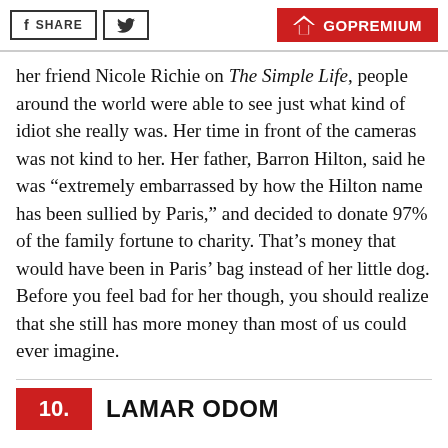f SHARE | [twitter] | GO PREMIUM
her friend Nicole Richie on The Simple Life, people around the world were able to see just what kind of idiot she really was. Her time in front of the cameras was not kind to her. Her father, Barron Hilton, said he was “extremely embarrassed by how the Hilton name has been sullied by Paris,” and decided to donate 97% of the family fortune to charity. That’s money that would have been in Paris’ bag instead of her little dog. Before you feel bad for her though, you should realize that she still has more money than most of us could ever imagine.
10. LAMAR ODOM